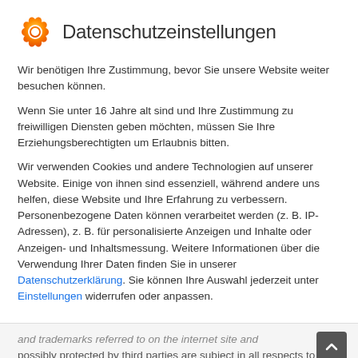Datenschutzeinstellungen
Wir benötigen Ihre Zustimmung, bevor Sie unsere Website weiter besuchen können.
Wenn Sie unter 16 Jahre alt sind und Ihre Zustimmung zu freiwilligen Diensten geben möchten, müssen Sie Ihre Erziehungsberechtigten um Erlaubnis bitten.
Wir verwenden Cookies und andere Technologien auf unserer Website. Einige von ihnen sind essenziell, während andere uns helfen, diese Website und Ihre Erfahrung zu verbessern. Personenbezogene Daten können verarbeitet werden (z. B. IP-Adressen), z. B. für personalisierte Anzeigen und Inhalte oder Anzeigen- und Inhaltsmessung. Weitere Informationen über die Verwendung Ihrer Daten finden Sie in unserer Datenschutzerklärung. Sie können Ihre Auswahl jederzeit unter Einstellungen widerrufen oder anpassen.
and trademarks referred to on the internet site and possibly protected by third parties are subject in all respects to the regulations of the relevant registration law and the rights of possession of the respective…